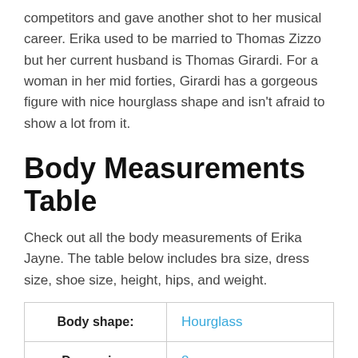competitors and gave another shot to her musical career. Erika used to be married to Thomas Zizzo but her current husband is Thomas Girardi. For a woman in her mid forties, Girardi has a gorgeous figure with nice hourglass shape and isn't afraid to show a lot from it.
Body Measurements Table
Check out all the body measurements of Erika Jayne. The table below includes bra size, dress size, shoe size, height, hips, and weight.
|  |  |
| --- | --- |
| Body shape: | Hourglass |
| Dress size: | 8 |
| Breasts-Waist-Hips: | 37-26-38 inches (94-66- |